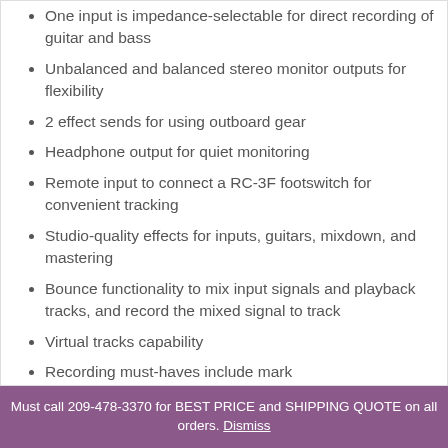One input is impedance-selectable for direct recording of guitar and bass
Unbalanced and balanced stereo monitor outputs for flexibility
2 effect sends for using outboard gear
Headphone output for quiet monitoring
Remote input to connect a RC-3F footswitch for convenient tracking
Studio-quality effects for inputs, guitars, mixdown, and mastering
Bounce functionality to mix input signals and playback tracks, and record the mixed signal to track
Virtual tracks capability
Recording must-haves include mark
Must call 209-478-3370 for BEST PRICE and SHIPPING QUOTE on all orders. Dismiss